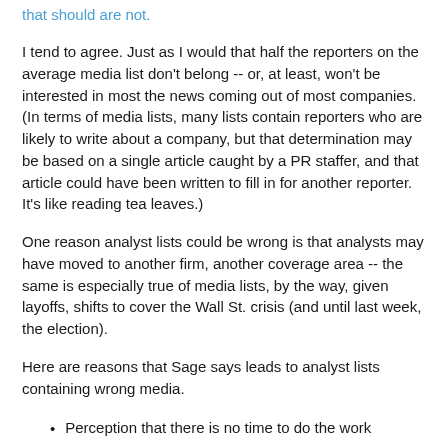that should are not.
I tend to agree. Just as I would that half the reporters on the average media list don't belong -- or, at least, won't be interested in most the news coming out of most companies. (In terms of media lists, many lists contain reporters who are likely to write about a company, but that determination may be based on a single article caught by a PR staffer, and that article could have been written to fill in for another reporter. It's like reading tea leaves.)
One reason analyst lists could be wrong is that analysts may have moved to another firm, another coverage area -- the same is especially true of media lists, by the way, given layoffs, shifts to cover the Wall St. crisis (and until last week, the election).
Here are reasons that Sage says leads to analyst lists containing wrong media.
Perception that there is no time to do the work